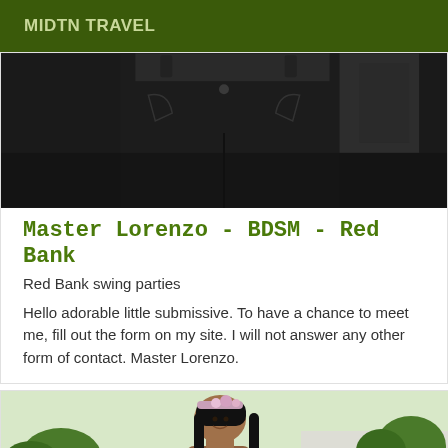MIDTN TRAVEL
[Figure (photo): Cropped photo showing a person wearing black jeans from waist down]
Master Lorenzo - BDSM - Red Bank
Red Bank swing parties
Hello adorable little submissive. To have a chance to meet me, fill out the form on my site. I will not answer any other form of contact. Master Lorenzo.
[Figure (photo): Photo of a woman in a white bikini top with a floral headband, standing near a pool area with lounge chairs and tropical plants]